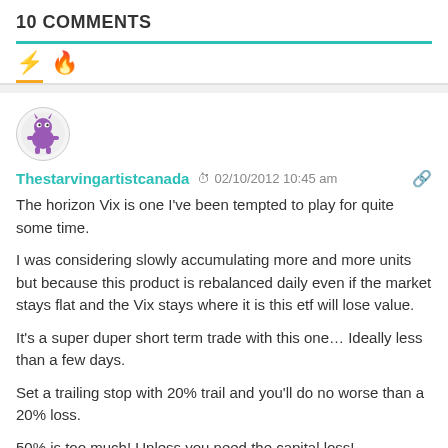10 COMMENTS
Thestarvingartistcanada  02/10/2012 10:45 am
The horizon Vix is one I've been tempted to play for quite some time.

I was considering slowly accumulating more and more units but because this product is rebalanced daily even if the market stays flat and the Vix stays where it is this etf will lose value.

It's a super duper short term trade with this one… Ideally less than a few days.

Set a trailing stop with 20% trail and you'll do no worse than a 20% loss.

50% is too much! Unless you need the capital loss!